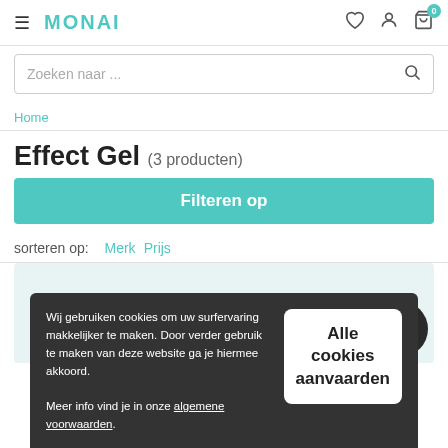MONAI
Zoeken naar ...
Home
Effect Gel (3 producten)
Filteren op
sorteren op:  Merk  Prijs
Wij gebruiken cookies om uw surfervaring makkelijker te maken. Door verder gebruik te maken van deze website ga je hiermee akkoord. Meer info vind je in onze algemene voorwaarden.
Alle cookies aanvaarden